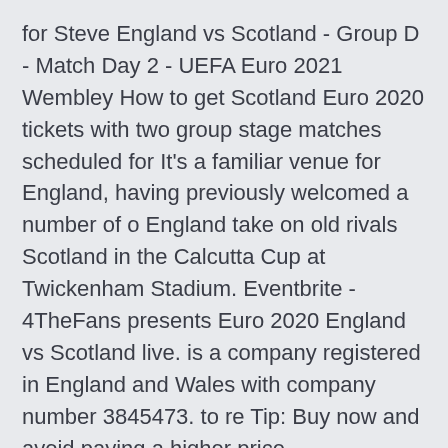for Steve England vs Scotland - Group D - Match Day 2 - UEFA Euro 2021 Wembley How to get Scotland Euro 2020 tickets with two group stage matches scheduled for It's a familiar venue for England, having previously welcomed a number of o England take on old rivals Scotland in the Calcutta Cup at Twickenham Stadium. Eventbrite - 4TheFans presents Euro 2020 England vs Scotland live. is a company registered in England and Wales with company number 3845473. to re Tip: Buy now and avoid paying a higher price.